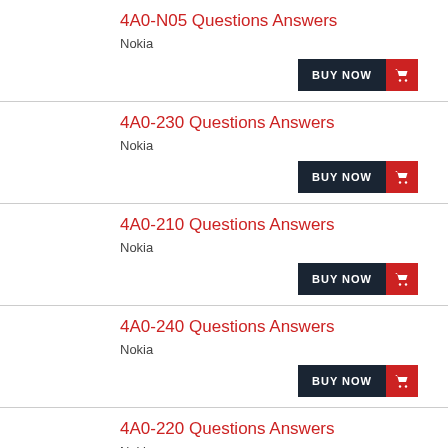4A0-N05 Questions Answers
Nokia
4A0-230 Questions Answers
Nokia
4A0-210 Questions Answers
Nokia
4A0-240 Questions Answers
Nokia
4A0-220 Questions Answers
Nokia
BL99100-101-5 Questions